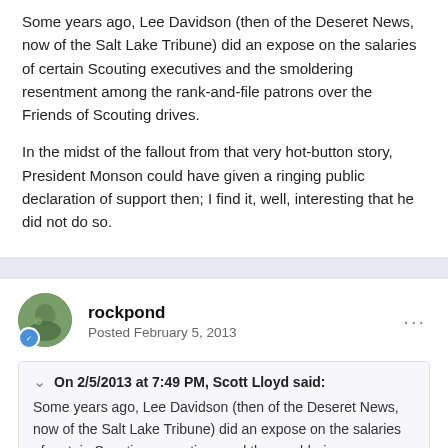Some years ago, Lee Davidson (then of the Deseret News, now of the Salt Lake Tribune) did an expose on the salaries of certain Scouting executives and the smoldering resentment among the rank-and-file patrons over the Friends of Scouting drives.
In the midst of the fallout from that very hot-button story, President Monson could have given a ringing public declaration of support then; I find it, well, interesting that he did not do so.
rockpond
Posted February 5, 2013
On 2/5/2013 at 7:49 PM, Scott Lloyd said:
Some years ago, Lee Davidson (then of the Deseret News, now of the Salt Lake Tribune) did an expose on the salaries of certain Scouting executives and the smoldering